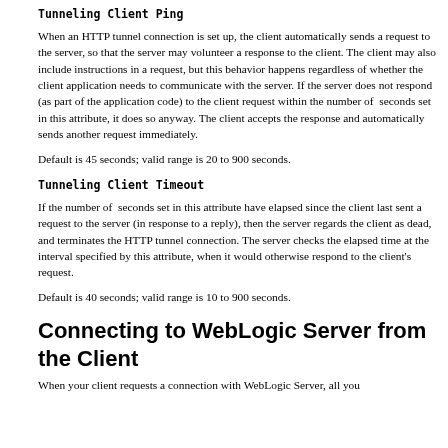Tunneling Client Ping
When an HTTP tunnel connection is set up, the client automatically sends a request to the server, so that the server may volunteer a response to the client. The client may also include instructions in a request, but this behavior happens regardless of whether the client application needs to communicate with the server. If the server does not respond (as part of the application code) to the client request within the number of  seconds set in this attribute, it does so anyway. The client accepts the response and automatically sends another request immediately.
Default is 45 seconds; valid range is 20 to 900 seconds.
Tunneling Client Timeout
If the number of  seconds set in this attribute have elapsed since the client last sent a request to the server (in response to a reply), then the server regards the client as dead, and terminates the HTTP tunnel connection. The server checks the elapsed time at the interval specified by this attribute, when it would otherwise respond to the client's request.
Default is 40 seconds; valid range is 10 to 900 seconds.
Connecting to WebLogic Server from the Client
When your client requests a connection with WebLogic Server, all you